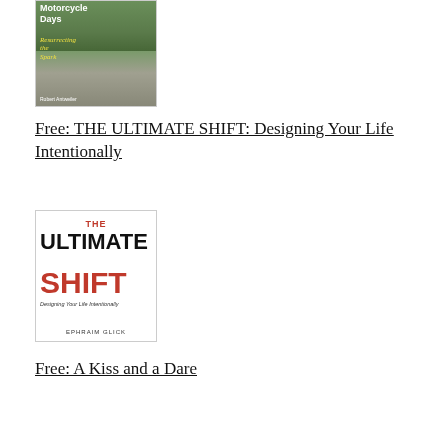[Figure (illustration): Book cover for 'Motorcycle Days: Resurrecting the Spark' by Robert Antweiler, showing a road scene with green surroundings]
Free: THE ULTIMATE SHIFT: Designing Your Life Intentionally
[Figure (illustration): Book cover for 'THE ULTIMATE SHIFT: Designing Your Life Intentionally' by Ephraim Glick, with bold red and black text on white background]
Free: A Kiss and a Dare